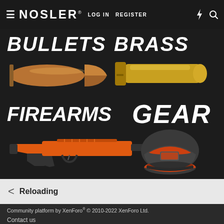≡ NOSLER® LOG IN  REGISTER ⚡ 🔍
[Figure (screenshot): Nosler product category navigation showing BULLETS, BRASS, FIREARMS, GEAR with product images including a bullet, brass casing, orange rifle, and cap on dark background]
< Reloading
Community platform by XenForo® © 2010-2022 XenForo Ltd.
Contact us